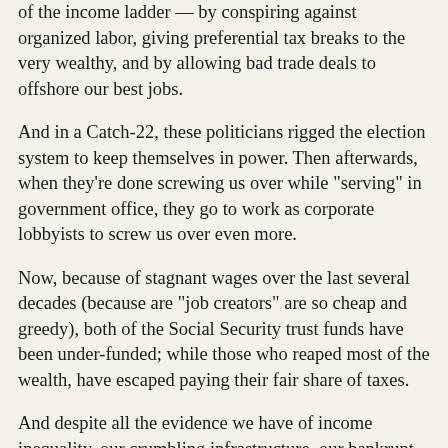of the income ladder — by conspiring against organized labor, giving preferential tax breaks to the very wealthy, and by allowing bad trade deals to offshore our best jobs.
And in a Catch-22, these politicians rigged the election system to keep themselves in power. Then afterwards, when they're done screwing us over while "serving" in government office, they go to work as corporate lobbyists to screw us over even more.
Now, because of stagnant wages over the last several decades (because are "job creators" are so cheap and greedy), both of the Social Security trust funds have been under-funded; while those who reaped most of the wealth, have escaped paying their fair share of taxes.
And despite all the evidence we have of income inequality, our crumbling infrastructure, our bankrupt cities, and the overall general decline of our nation — these same politicians continue to make a very dire situation for most Americans even worse.
That's why regular working people (on both the left and the right) are getting so fed up — and why people such as Bernie Sanders and Donald Trump have had such great public appeal; because